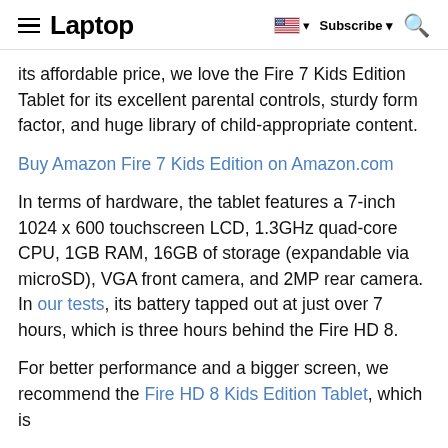Laptop | Subscribe | Search
its affordable price, we love the Fire 7 Kids Edition Tablet for its excellent parental controls, sturdy form factor, and huge library of child-appropriate content.
Buy Amazon Fire 7 Kids Edition on Amazon.com
In terms of hardware, the tablet features a 7-inch 1024 x 600 touchscreen LCD, 1.3GHz quad-core CPU, 1GB RAM, 16GB of storage (expandable via microSD), VGA front camera, and 2MP rear camera. In our tests, its battery tapped out at just over 7 hours, which is three hours behind the Fire HD 8.
For better performance and a bigger screen, we recommend the Fire HD 8 Kids Edition Tablet, which is